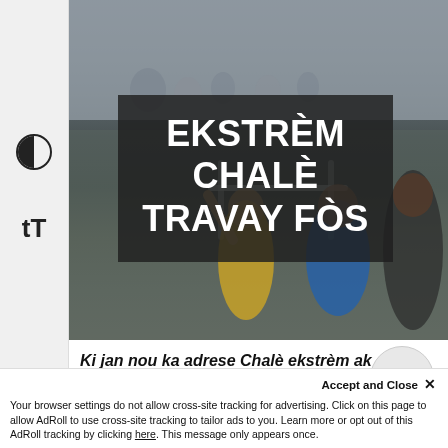[Figure (photo): Children and people outdoors, likely at a sports field or outdoor event, with a semi-transparent dark overlay bearing bold white text]
EKSTRÈM CHALÈ TRAVAY FÒS
Ki jan nou ka adrese Chalè ekstrèm ak bese enpak li sou lavi nou?
Your browser settings do not allow cross-site tracking for advertising. Click on this page to allow AdRoll to use cross-site tracking to tailor ads to you. Learn more or opt out of this AdRoll tracking by clicking here. This message only appears once.